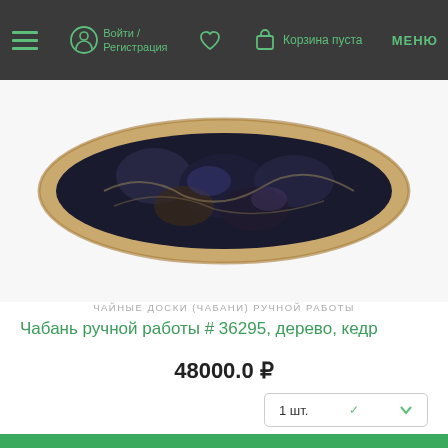Войти / Регистрация   Корзина пуста   МЕНЮ
[Figure (photo): Handmade wooden tea board (chaban) with dark stone inlays, oval shape with natural wood edge, viewed from above on white background]
ЧАЙНЫЕ ДОСКИ (ЧАБАНИ) РУЧНОЙ РАБОТЫ
Чабань ручной работы # 36295, дерево, кедр
48000.0 ₽
1 шт.
ДОБАВИТЬ В КОРЗИНУ